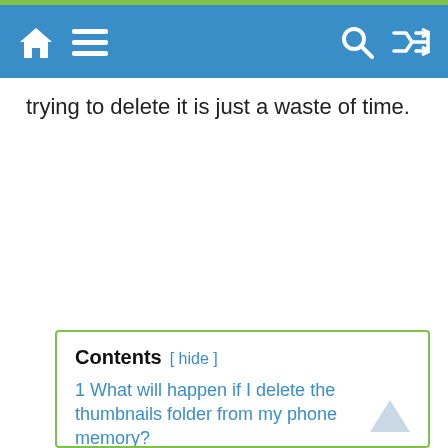Home | Menu | Search | Shuffle
trying to delete it is just a waste of time.
Contents [ hide ]
1 What will happen if I delete the thumbnails folder from my phone memory?
1.1 Scrolling experience gets worse
1.2 Gallery app becomes slow
1.3 You'll lose your valuable time
1.4 Chance of losing every photo and videos
2 Should you delete the thumbnails